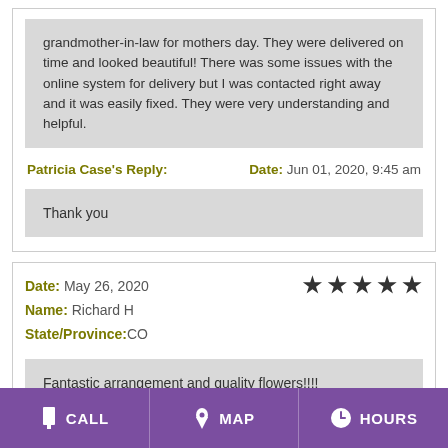grandmother-in-law for mothers day. They were delivered on time and looked beautiful! There was some issues with the online system for delivery but I was contacted right away and it was easily fixed. They were very understanding and helpful.
Patricia Case's Reply:   Date: Jun 01, 2020, 9:45 am
Thank you
Date: May 26, 2020
Name: Richard H
State/Province:CO
Fantastic arrangement and quality flowers!!!!
CALL   MAP   HOURS